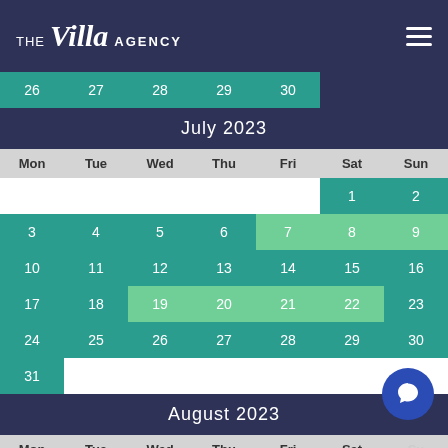[Figure (logo): The Villa Agency logo with hamburger menu on dark navy header]
| Mon | Tue | Wed | Thu | Fri | Sat | Sun |
| --- | --- | --- | --- | --- | --- | --- |
| 26 | 27 | 28 | 29 | 30 |  |  |
| July 2023 |  |  |  |  |  |  |
| Mon | Tue | Wed | Thu | Fri | Sat | Sun |
|  |  |  |  |  | 1 | 2 |
| 3 | 4 | 5 | 6 | 7 | 8 | 9 |
| 10 | 11 | 12 | 13 | 14 | 15 | 16 |
| 17 | 18 | 19 | 20 | 21 | 22 | 23 |
| 24 | 25 | 26 | 27 | 28 | 29 | 30 |
| 31 |  |  |  |  |  |  |
| August 2023 |  |  |  |  |  |  |
| Mon | Tue | Wed | Thu | Fri | Sat | Sun |
| 1 | 2 | 3 | 4 | 5 |  | 6 |